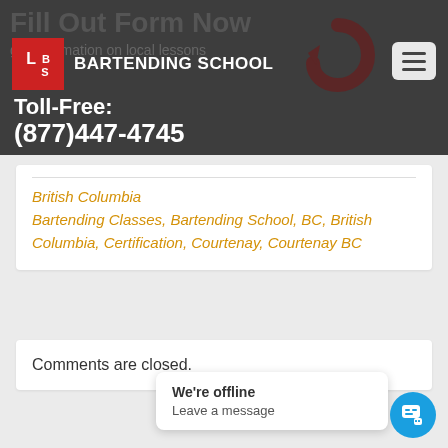[Figure (logo): LBS Bartending School logo with red box containing letters L, B, S and text BARTENDING SCHOOL]
Toll-Free:
(877)447-4745
British Columbia
Bartending Classes, Bartending School, BC, British Columbia, Certification, Courtenay, Courtenay BC
Comments are closed.
Colwood BC Bartending School
We're offline
Leave a message